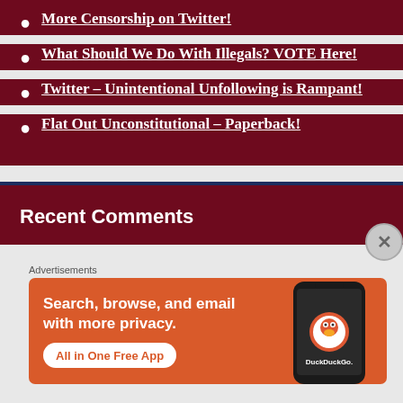More Censorship on Twitter!
What Should We Do With Illegals? VOTE Here!
Twitter – Unintentional Unfollowing is Rampant!
Flat Out Unconstitutional – Paperback!
Recent Comments
Advertisements
[Figure (screenshot): DuckDuckGo advertisement: Search, browse, and email with more privacy. All in One Free App. Shows DuckDuckGo logo on a phone.]